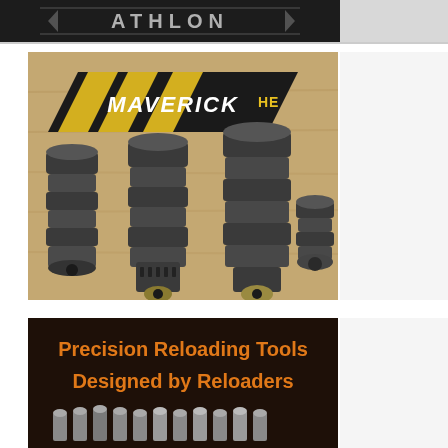[Figure (logo): Athlon brand logo text on dark background banner]
[Figure (photo): Maverick HE brand photo showing firearm suppressors/muzzle brakes on a wooden surface with the Maverick HE logo in black and yellow]
[Figure (photo): Precision Reloading Tools Designed by Reloaders advertisement with orange text on dark background and bullet casings at bottom]